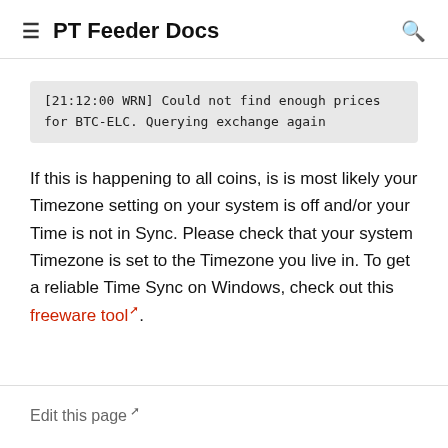PT Feeder Docs
[21:12:00 WRN] Could not find enough prices for BTC-ELC. Querying exchange again
If this is happening to all coins, is is most likely your Timezone setting on your system is off and/or your Time is not in Sync. Please check that your system Timezone is set to the Timezone you live in. To get a reliable Time Sync on Windows, check out this freeware tool.
Edit this page